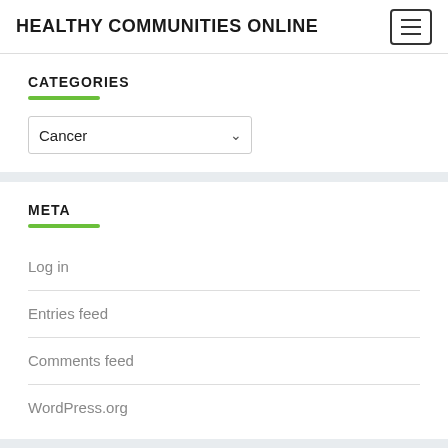HEALTHY COMMUNITIES ONLINE
CATEGORIES
Cancer
META
Log in
Entries feed
Comments feed
WordPress.org